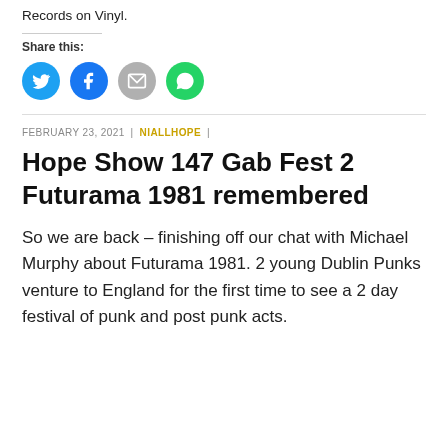Records on Vinyl.
Share this:
[Figure (infographic): Four circular social share buttons: Twitter (blue), Facebook (blue), Email (grey), WhatsApp (green)]
FEBRUARY 23, 2021 | NIALLHOPE |
Hope Show 147 Gab Fest 2 Futurama 1981 remembered
So we are back – finishing off our chat with Michael Murphy about Futurama 1981. 2 young Dublin Punks venture to England for the first time to see a 2 day festival of punk and post punk acts.